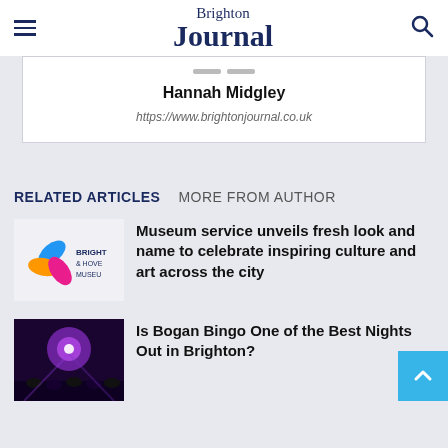Brighton Journal
Hannah Midgley
https://www.brightonjournal.co.uk
RELATED ARTICLES   MORE FROM AUTHOR
[Figure (logo): Brighton & Hove Museum logo with colorful leaf/petal design]
Museum service unveils fresh look and name to celebrate inspiring culture and art across the city
[Figure (photo): Dark concert/bingo night scene with purple stage lighting and crowd]
Is Bogan Bingo One of the Best Nights Out in Brighton?